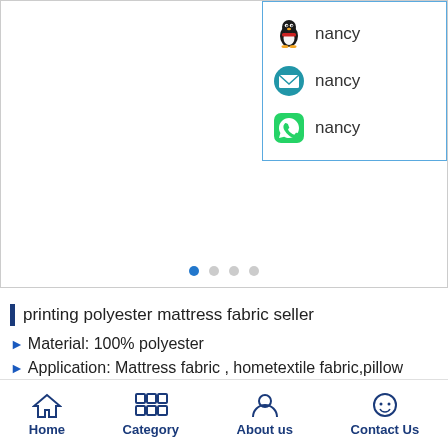[Figure (screenshot): Product image carousel area with white background, showing dot navigation indicators (first dot active in blue, three grey dots)]
[Figure (infographic): Contact panel with blue border showing QQ (nancy), Email (nancy), and WhatsApp (nancy) contact options with icons]
printing polyester mattress fabric seller
Material: 100% polyester
Application: Mattress fabric , hometextile fabric,pillow fabric
Home | Category | About us | Contact Us